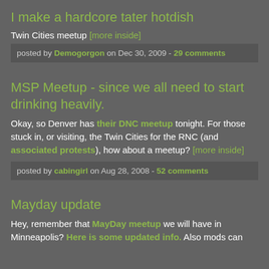I make a hardcore tater hotdish
Twin Cities meetup [more inside]
posted by Demogorgon on Dec 30, 2009 - 29 comments
MSP Meetup - since we all need to start drinking heavily.
Okay, so Denver has their DNC meetup tonight. For those stuck in, or visiting, the Twin Cities for the RNC (and associated protests), how about a meetup? [more inside]
posted by cabingirl on Aug 28, 2008 - 52 comments
Mayday update
Hey, remember that MayDay meetup we will have in Minneapolis? Here is some updated info. Also mods can